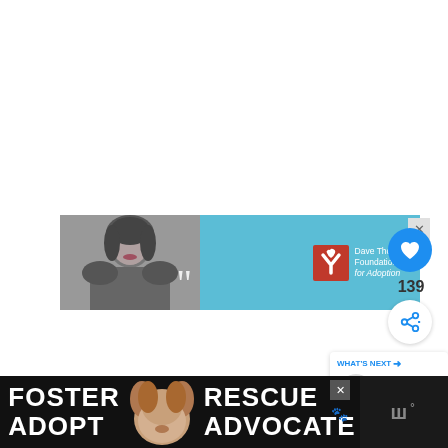[Figure (screenshot): Advertisement banner with a black-and-white photo of a young woman on the left, teal/light blue background in center, Dave Thomas Foundation for Adoption logo on the right, and a close (X) button in the corner.]
[Figure (infographic): Like button (heart icon, blue circle) with count 139 below it, and a share button (white circle with share icon).]
[Figure (screenshot): What's Next panel showing a thumbnail image of a dog/cat with Starbucks cup and text '#Win a $10 Starbucks G...']
[Figure (screenshot): Footer advertisement with dark background, text: FOSTER ADOPT on left, dog photo in center, RESCUE ADVOCATE on right, and close button. Right side shows stylized logo text.]